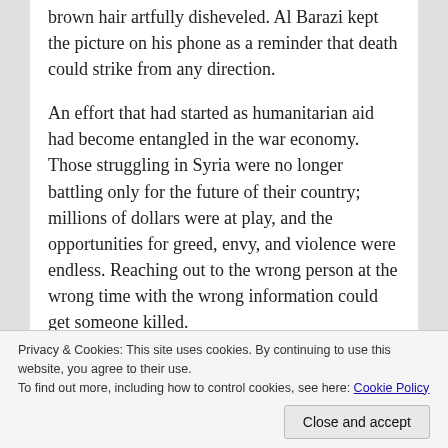brown hair artfully disheveled. Al Barazi kept the picture on his phone as a reminder that death could strike from any direction.
An effort that had started as humanitarian aid had become entangled in the war economy. Those struggling in Syria were no longer battling only for the future of their country; millions of dollars were at play, and the opportunities for greed, envy, and violence were endless. Reaching out to the wrong person at the wrong time with the wrong information could get someone killed.
But not reaching out seemed worse. On January 17 2014, Al Barazi posted an account from inside the
Privacy & Cookies: This site uses cookies. By continuing to use this website, you agree to their use.
To find out more, including how to control cookies, see here: Cookie Policy
Close and accept
Assad: “Damn your soul,” he wrote.